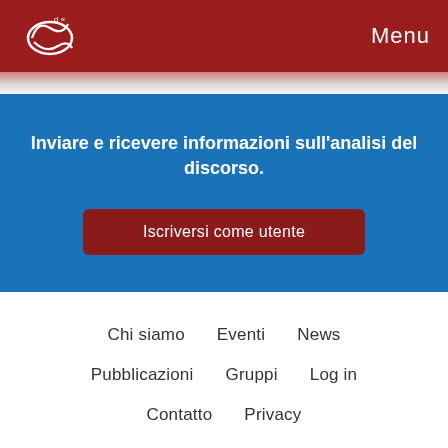Menu
Inviare e ricevere informazioni sull'analisi del discorso.
Iscriversi come utente
Chi siamo
Eventi
News
Pubblicazioni
Gruppi
Log in
Contatto
Privacy